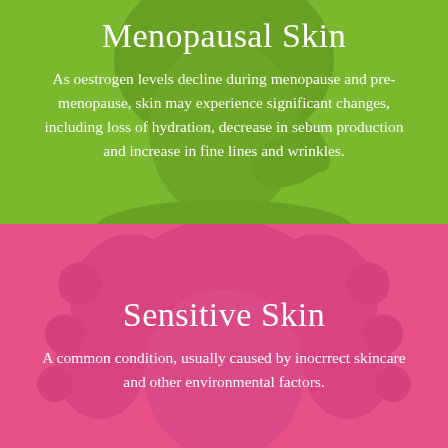[Figure (infographic): Green panel with woman touching her face, background for Menopausal Skin section]
Menopausal Skin
As oestrogen levels decline during menopause and pre-menopause, skin may experience significant changes, including loss of hydration, decrease in sebum production and increase in fine lines and wrinkles.
[Figure (infographic): Pink panel with woman with curly hair, background for Sensitive Skin section]
Sensitive Skin
A common condition, usually caused by inocrrect skincare and other environmental factors.